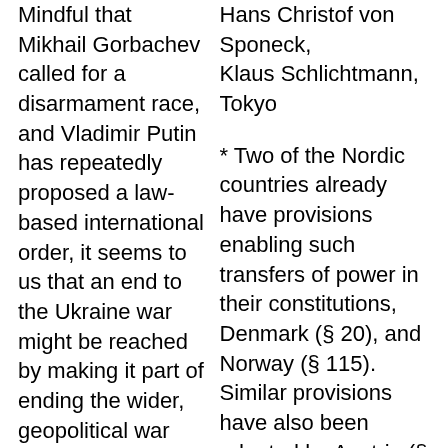Mindful that Mikhail Gorbachev called for a disarmament race, and Vladimir Putin has repeatedly proposed a law-based international order, it seems to us that an end to the Ukraine war might be reached by making it part of ending the wider, geopolitical war between the US and Russia.
Fear of US expansion does, of course, not justify Russia´s attack on Ukraine. And yet it is
Hans Christof von Sponeck, Klaus Schlichtmann, Tokyo
* Two of the Nordic countries already have provisions enabling such transfers of power in their constitutions, Denmark (§ 20), and Norway (§ 115). Similar provisions have also been adopted by Austria (§ 9), Belgium (§ 25), Germany (§ 24), Greece (§ 28), Italy (§ 11), Portugal (§ 7), Spain (§ 93), In Asia, India (§ 51)